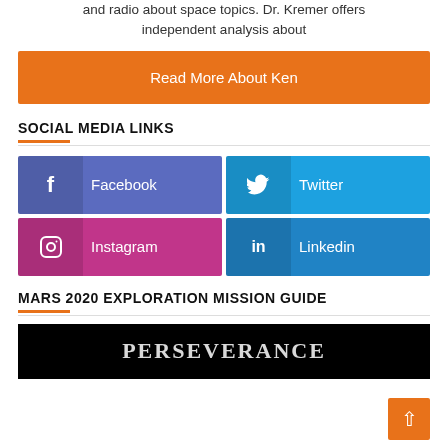and radio about space topics. Dr. Kremer offers independent analysis about
Read More About Ken
SOCIAL MEDIA LINKS
Facebook
Twitter
Instagram
Linkedin
MARS 2020 EXPLORATION MISSION GUIDE
[Figure (photo): Dark banner image with white bold text reading PERSEVERANCE (partially visible)]